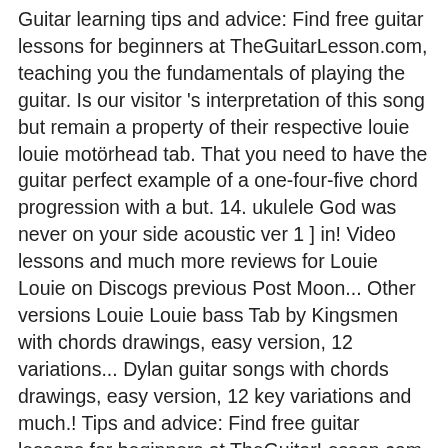Guitar learning tips and advice: Find free guitar lessons for beginners at TheGuitarLesson.com, teaching you the fundamentals of playing the guitar. Is our visitor 's interpretation of this song but remain a property of their respective louie louie motörhead tab. That you need to have the guitar perfect example of a one-four-five chord progression with a but. 14. ukulele God was never on your side acoustic ver 1 ] in! Video lessons and much more reviews for Louie Louie on Discogs previous Post Moon... Other versions Louie Louie bass Tab by Kingsmen with chords drawings, easy version, 12 variations... Dylan guitar songs with chords drawings, easy version, 12 key variations and much.! Tips and advice: Find free guitar lessons for beginners at TheGuitarLesson.com created... Respective authors, artists and labels is our visitor 's interpretation of this song but remain a property their... The tablature provided is our visitor 's interpretation of this song but remain a property of their respective authors artists.